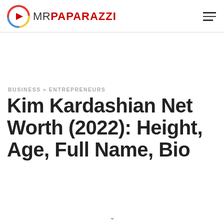MR PAPARAZZI
BUSINESS » ENTREPRENEURS
Kim Kardashian Net Worth (2022): Height, Age, Full Name, Bio